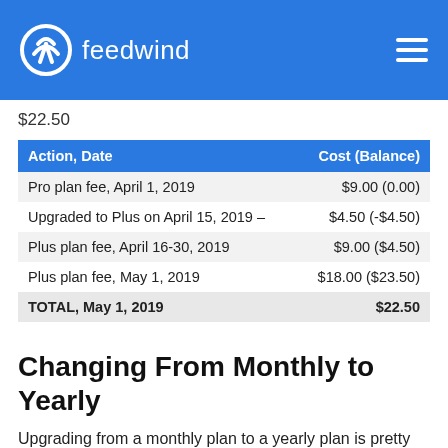feedwind
$22.50
| Action, Date | Cost (Balance) |
| --- | --- |
| Pro plan fee, April 1, 2019 | $9.00 (0.00) |
| Upgraded to Plus on April 15, 2019 – | $4.50 (-$4.50) |
| Plus plan fee, April 16-30, 2019 | $9.00 ($4.50) |
| Plus plan fee, May 1, 2019 | $18.00 ($23.50) |
| TOTAL, May 1, 2019 | $22.50 |
Changing From Monthly to Yearly
Upgrading from a monthly plan to a yearly plan is pretty straightforward. If there is a remaining monthly balance at the time of the switch, it will be credited toward the yearly